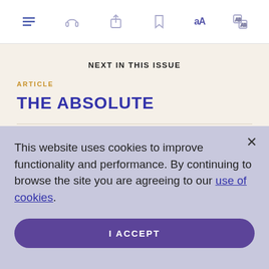[Figure (screenshot): Mobile app toolbar with icons: hamburger menu, headphones, share/export, bookmark, text size (aA), and translation icon]
NEXT IN THIS ISSUE
ARTICLE
THE ABSOLUTE
March 29, 1913
This website uses cookies to improve functionality and performance. By continuing to browse the site you are agreeing to our use of cookies.
I ACCEPT